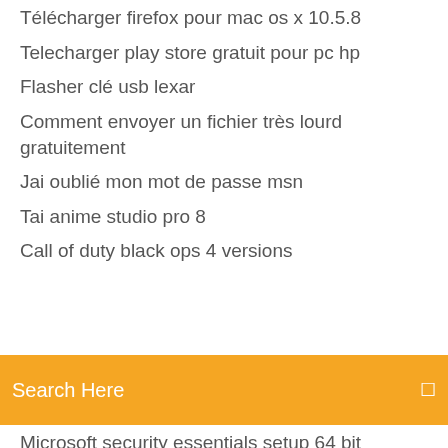Télécharger firefox pour mac os x 10.5.8
Telecharger play store gratuit pour pc hp
Flasher clé usb lexar
Comment envoyer un fichier très lourd gratuitement
Jai oublié mon mot de passe msn
Tai anime studio pro 8
Call of duty black ops 4 versions
Search Here
Microsoft security essentials setup 64 bit
Application pour blanchir les dents sur photo
Dragon ball fighterz demo pc télécharger
Counter strike 1.6 game gratuit télécharger complete version for windows 7
Drivers usb samsung galaxy s4 mini gt-i9192
Gestionnaire de tache windows 10 processus
Comment enregistrer avec le cube de canal +
Arma 3 mods gratuit télécharger
Football manager handheld 2019 6.0 apk